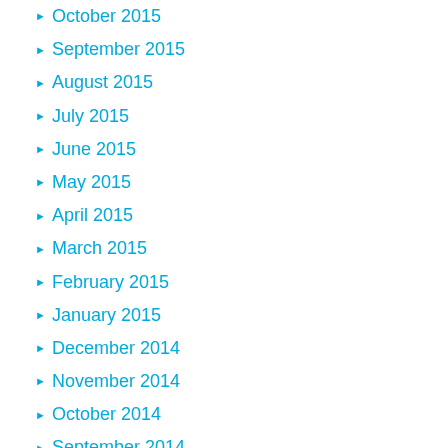October 2015
September 2015
August 2015
July 2015
June 2015
May 2015
April 2015
March 2015
February 2015
January 2015
December 2014
November 2014
October 2014
September 2014
August 2014
July 2014
June 2014
May 2014
April 2014